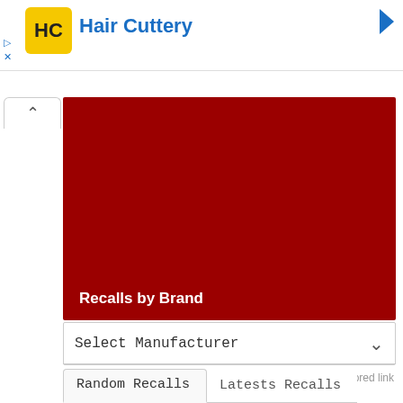[Figure (screenshot): Hair Cuttery advertisement banner with yellow/black logo and blue brand name text, with a blue arrow icon top right and ad controls top left]
[Figure (other): Dark red/maroon banner image for 'Recalls by Brand' section with white text label at bottom left]
Select Manufacturer
Sponsored link
Random Recalls
Latests Recalls